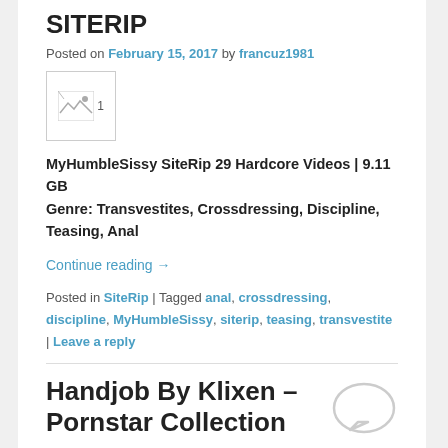SITERIP
Posted on February 15, 2017 by francuz1981
[Figure (photo): Broken image thumbnail placeholder labeled '1']
MyHumbleSissy SiteRip 29 Hardcore Videos | 9.11 GB Genre: Transvestites, Crossdressing, Discipline, Teasing, Anal
Continue reading →
Posted in SiteRip | Tagged anal, crossdressing, discipline, MyHumbleSissy, siterip, teasing, transvestite | Leave a reply
Handjob By Klixen – Pornstar Collection
Posted on November 4, 2015 by francuz1981